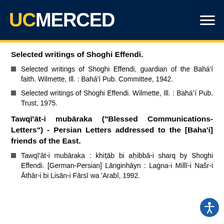UC MERCED
Selected writings of Shoghi Effendi.
Selected writings of Shoghi Effendi, guardian of the Bahá'í faith. Wilmette, Ill. : Bahá'í Pub. Committee, 1942.
Selected writings of Shoghi Effendi. Wilmette, Ill. : Baháʼí Pub. Trust, 1975.
Tawqī'āt-i mubāraka ("Blessed Communications-Letters") - Persian Letters addressed to the [Baha'i] friends of the East.
Tawqī'āt-i mubāraka : khiṭāb bi aḥibbā-i sharq by Shoghi Effendi. [German-Persian] Lānginhāyn : Laġna-i Millī-i Našr-i Āthār-i bi Lisān-i Fārsī wa 'Arabī, 1992.